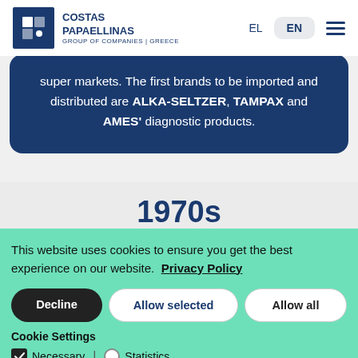[Figure (logo): Costas Papaellinas Group of Companies Greece logo with blue square icon and text]
EL  EN  ☰
super markets. The first brands to be imported and distributed are ALKA-SELTZER, TAMPAX and AMES' diagnostic products.
1970s
This website uses cookies to ensure you get the best experience on our website.  Privacy Policy
Decline  Allow selected  Allow all
Cookie Settings
✓ Necessary | ○ Statistics